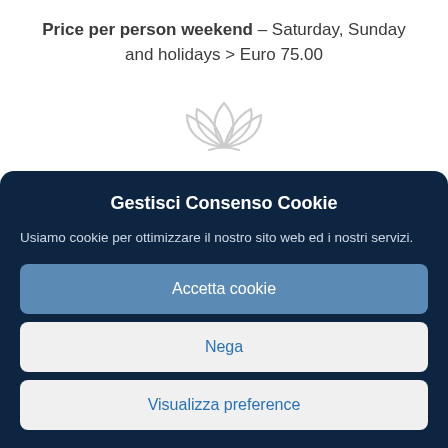Price per person weekend – Saturday, Sunday and holidays > Euro 75.00
[Figure (illustration): Lotus flower icon in light gray outline]
DAY SPA EXPERIENCE
Gestisci Consenso Cookie
Usiamo cookie per ottimizzare il nostro sito web ed i nostri servizi.
Accetta cookie
Nega
Visualizza preference